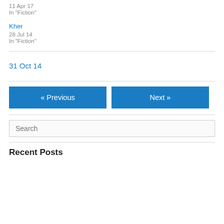11 Apr 17
In "Fiction"
Kher
28 Jul 14
In "Fiction"
31 Oct 14
« Previous
Next »
Search
Recent Posts